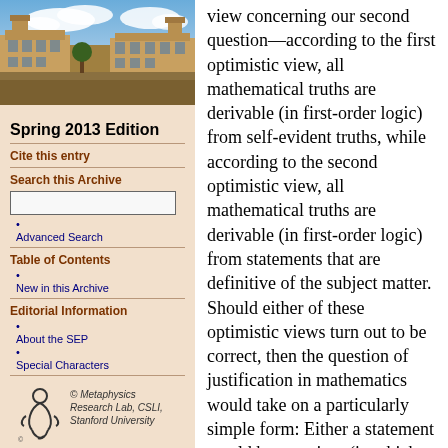[Figure (photo): Photo of a historic university building (likely Oxford or Cambridge) with stone architecture and courtyard under blue sky with clouds]
Spring 2013 Edition
Cite this entry
Search this Archive
Advanced Search
Table of Contents
New in this Archive
Editorial Information
About the SEP
Special Characters
[Figure (logo): Metaphysics Research Lab, CSLI, Stanford University logo with stylized figure]
view concerning our second question—according to the first optimistic view, all mathematical truths are derivable (in first-order logic) from self-evident truths, while according to the second optimistic view, all mathematical truths are derivable (in first-order logic) from statements that are definitive of the subject matter. Should either of these optimistic views turn out to be correct, then the question of justification in mathematics would take on a particularly simple form: Either a statement would be an axiom (in which case it would be self-evident or definitive of the